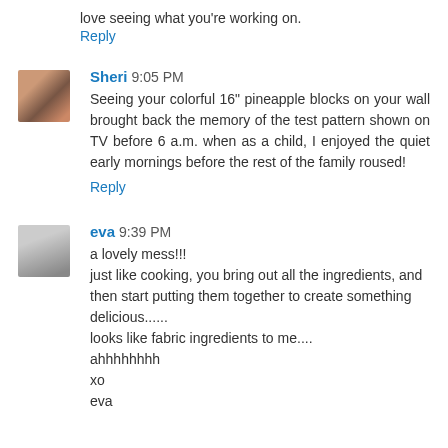love seeing what you're working on.
Reply
Sheri 9:05 PM
Seeing your colorful 16" pineapple blocks on your wall brought back the memory of the test pattern shown on TV before 6 a.m. when as a child, I enjoyed the quiet early mornings before the rest of the family roused!
Reply
eva 9:39 PM
a lovely mess!!!
just like cooking, you bring out all the ingredients, and then start putting them together to create something delicious......
looks like fabric ingredients to me....
ahhhhhhhh
xo
eva